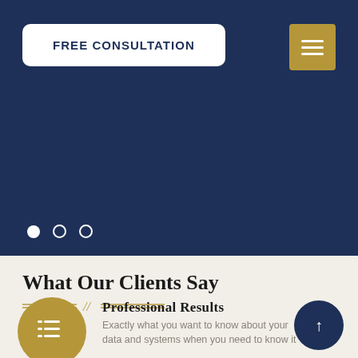FREE CONSULTATION
[Figure (other): Navigation slider dots indicator with three circles, first filled white, second and third outlined]
What Our Clients Say
[Figure (other): Gold circle icon with list/bullet lines symbol]
Professional Results
Exactly what you want to know about your data and systems when you need to know it
[Figure (other): Navy blue circle with upward arrow navigation button]